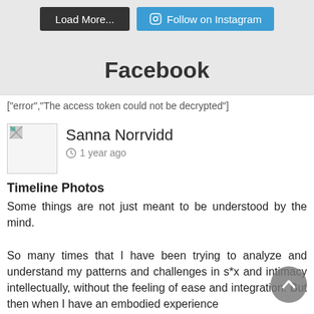[Figure (screenshot): Top navigation bar with 'Load More...' dark button and 'Follow on Instagram' blue button]
Facebook
["error","The access token could not be decrypted"]
[Figure (photo): User avatar placeholder image (broken image icon)]
Sanna Norrvidd
1 year ago
Timeline Photos
Some things are not just meant to be understood by the mind.

So many times that I have been trying to analyze and understand my patterns and challenges in s*x and intimacy intellectually, without the feeling of ease and integration. But then when I have an embodied experience